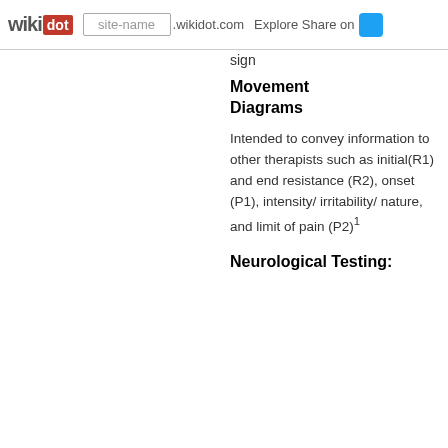wikidot | site-name .wikidot.com | Explore Share on [twitter]
sign
Movement Diagrams
Intended to convey information to other therapists such as initial(R1) and end resistance (R2), onset (P1), intensity/irritability/nature, and limit of pain (P2)1
Neurological Testing: